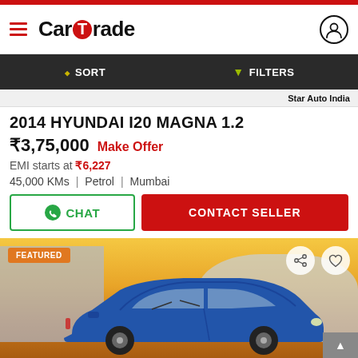CarTrade
SORT   FILTERS
Star Auto India
2014 HYUNDAI I20 MAGNA 1.2
₹3,75,000   Make Offer
EMI starts at ₹6,227
45,000 KMs   |   Petrol   |   Mumbai
CHAT   CONTACT SELLER
[Figure (photo): Blue Hyundai i20 parked outdoors with FEATURED badge, share and heart icons visible. Background shows industrial buildings and a warm sunset sky.]